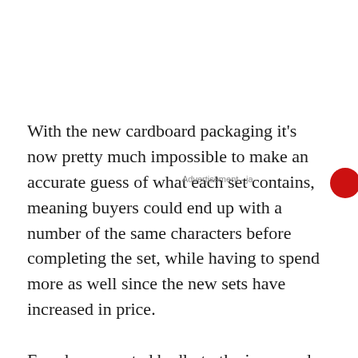With the new cardboard packaging it's now pretty much impossible to make an accurate guess of what each set contains, meaning buyers could end up with a number of the same characters before completing the set, while having to spend more as well since the new sets have increased in price.
Fans have reacted badly to the increased price, the new packaging, as well as the lower number of characters in this series, which includes Nabbit, Purple Toad, Hammer Bro, Waddlewing, Toady, Baby Yoshi, Red Yoshi, and Blue Shy